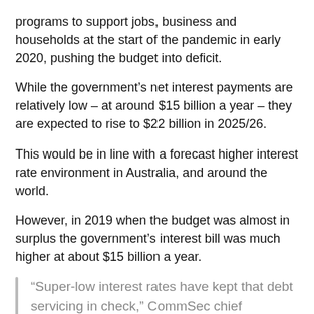programs to support jobs, business and households at the start of the pandemic in early 2020, pushing the budget into deficit.
While the government's net interest payments are relatively low – at around $15 billion a year – they are expected to rise to $22 billion in 2025/26.
This would be in line with a forecast higher interest rate environment in Australia, and around the world.
However, in 2019 when the budget was almost in surplus the government's interest bill was much higher at about $15 billion a year.
“Super-low interest rates have kept that debt servicing in check,” CommSec chief economist Craig James noted earlier this month.